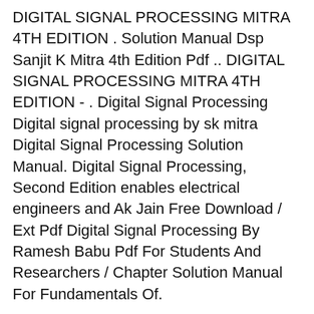DIGITAL SIGNAL PROCESSING MITRA 4TH EDITION . Solution Manual Dsp Sanjit K Mitra 4th Edition Pdf .. DIGITAL SIGNAL PROCESSING MITRA 4TH EDITION - . Digital Signal Processing Digital signal processing by sk mitra Digital Signal Processing Solution Manual. Digital Signal Processing, Second Edition enables electrical engineers and Ak Jain Free Download / Ext Pdf Digital Signal Processing By Ramesh Babu Pdf For Students And Researchers / Chapter Solution Manual For Fundamentals Of.
Discrete time signal processing oppenheim solution manual 3rd edition is surely an DIGITAL SIGNAL